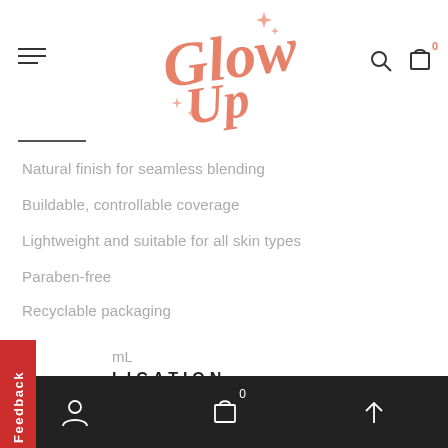[Figure (logo): Glow Up script logo in salmon/coral pink color with sparkle decorations]
Natural finish for seamless blending
Buildable, controllable coverage
Lightweight and suitable for all skin types
Paraben-free
Recyclable packaging
mL
LICATION